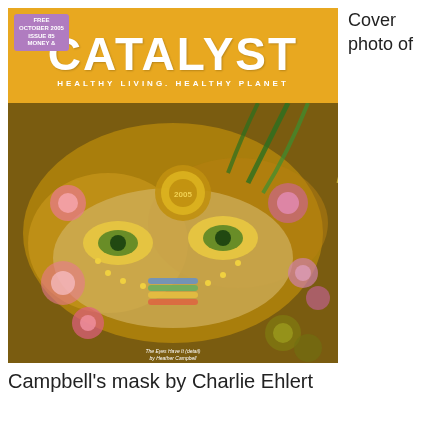[Figure (photo): Cover of Catalyst magazine showing a decorative Mardi Gras mask with colorful ornate details, titled 'The Eyes Have It (detail) by Heather Campbell'. The magazine cover has an orange top bar with the title CATALYST and subtitle HEALTHY LIVING. HEALTHY PLANET, and a FREE badge in the upper left corner.]
Cover photo of
Campbell's mask by Charlie Ehlert